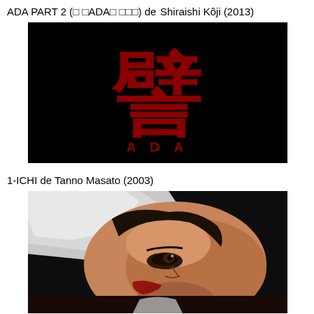ADA PART 2 (□ □ADA□ □□□) de Shiraishi Kôji (2013)
[Figure (photo): Movie title card for ADA: black background with large red kanji character (resembling 譬) and stylized 'ADA' text below in red]
1-ICHI de Tanno Masato (2003)
[Figure (photo): Close-up photo of a Japanese man's face, looking upward with intense expression, wearing white clothing, dark hair]